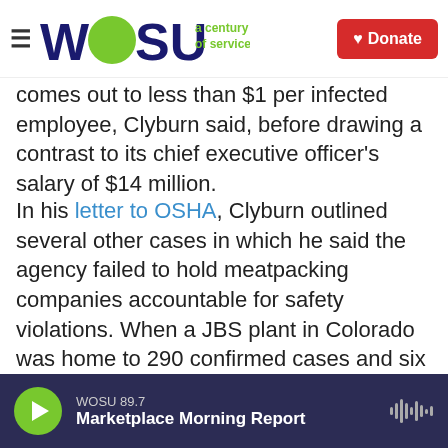WOSU a century of service — Donate
comes out to less than $1 per infected employee, Clyburn said, before drawing a contrast to its chief executive officer's salary of $14 million.
In his letter to OSHA, Clyburn outlined several other cases in which he said the agency failed to hold meatpacking companies accountable for safety violations. When a JBS plant in Colorado was home to 290 confirmed cases and six employee deaths, for example, OSHA cited the company with just two violations and a total fine of $15,615.
"A fine this small imposed on JBS, the world's largest meatpacker with $51.7 billion in annual
WOSU 89.7 — Marketplace Morning Report